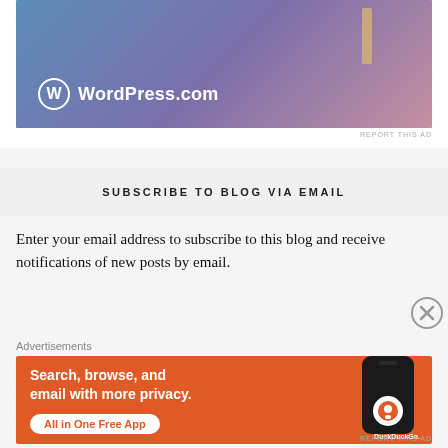[Figure (screenshot): WordPress.com advertisement banner with blue-purple gradient background and a wooden stylus/pen object, showing the WordPress circular logo and 'WordPress.com' text in white]
REPORT THIS AD
SUBSCRIBE TO BLOG VIA EMAIL
Enter your email address to subscribe to this blog and receive notifications of new posts by email.
Advertisements
[Figure (screenshot): DuckDuckGo advertisement banner with orange background showing 'Search, browse, and email with more privacy. All in One Free App' text with a smartphone showing the DuckDuckGo logo]